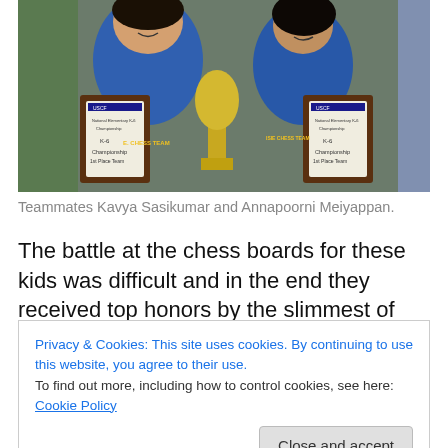[Figure (photo): Two girls in blue chess team shirts holding USCF championship plaques and a trophy between them, celebrating their K-6 1st Place Team win at the National Elementary Championship in Nashville, TN.]
Teammates Kavya Sasikumar and Annapoorni Meiyappan.
The battle at the chess boards for these kids was difficult and in the end they received top honors by the slimmest of
Privacy & Cookies: This site uses cookies. By continuing to use this website, you agree to their use.
To find out more, including how to control cookies, see here: Cookie Policy
Close and accept